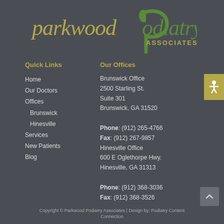[Figure (logo): Parkwood Podiatry Associates logo with gold text 'parkwood' and green swirl 'Podiatry ASSOCIATES']
Quick Links
Our Offices
Home
Our Doctors
Offices
Brunswick
Hinesville
Services
New Patients
Blog
Brunswick Office
2500 Starling St.
Suite 301
Brunswick, GA 31520

Phone: (912) 265-4766
Fax: (912) 267-9857
Hinesville Office
600 E Oglethorpe Hwy.
Hinesville, GA 31313

Phone: (912) 368-3036
Fax: (912) 368-3526
Copyright © Parkwood Podiatry Associates | Design by: Podiatry Content Connection